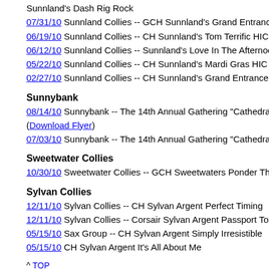Sunnland's Dash Rig Rock
07/31/10 Sunnland Collies -- GCH Sunnland's Grand Entrance HIC
06/19/10 Sunnland Collies -- CH Sunnland's Tom Terrific HIC
06/12/10 Sunnland Collies -- Sunnland's Love In The Afternoon, CGC
05/22/10 Sunnland Collies -- CH Sunnland's Mardi Gras HIC CGC RN
02/27/10 Sunnland Collies -- CH Sunnland's Grand Entrance, HIC (P...
Sunnybank
08/14/10 Sunnybank -- The 14th Annual Gathering "Cathedral Of The... (Download Flyer)
07/03/10 Sunnybank -- The 14th Annual Gathering "Cathedral Of The...
Sweetwater Collies
10/30/10 Sweetwater Collies -- GCH Sweetwaters Ponder The Stars,...
Sylvan Collies
12/11/10 Sylvan Collies -- CH Sylvan Argent Perfect Timing
12/11/10 Sylvan Collies -- Corsair Sylvan Argent Passport To Destiny
05/15/10 Sax Group -- CH Sylvan Argent Simply Irresistible
05/15/10 CH Sylvan Argent It's All About Me
^ TOP